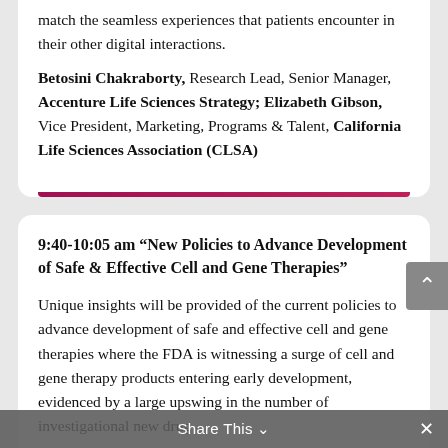match the seamless experiences that patients encounter in their other digital interactions.
Betosini Chakraborty, Research Lead, Senior Manager, Accenture Life Sciences Strategy; Elizabeth Gibson, Vice President, Marketing, Programs & Talent, California Life Sciences Association (CLSA)
9:40-10:05 am “New Policies to Advance Development of Safe & Effective Cell and Gene Therapies”
Unique insights will be provided of the current policies to advance development of safe and effective cell and gene therapies where the FDA is witnessing a surge of cell and gene therapy products entering early development, evidenced by a large upswing in the number of investigational new drug